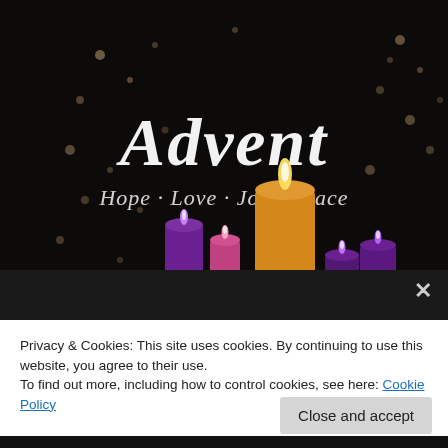[Figure (photo): Dark background with bokeh light spots and Advent candles (purple, pink, golden) with text 'Advent' in white script and 'Hope · Love · Joy · Peace' below in smaller script]
Privacy & Cookies: This site uses cookies. By continuing to use this website, you agree to their use.
To find out more, including how to control cookies, see here: Cookie Policy